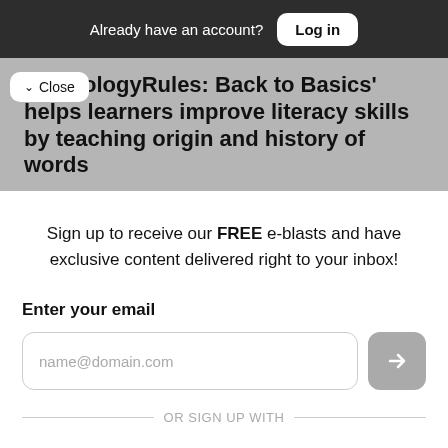Already have an account? Log in
'EtymologyRules: Back to Basics' helps learners improve literacy skills by teaching origin and history of words
Sign up to receive our FREE e-blasts and have exclusive content delivered right to your inbox!
Enter your email
name@domain.com
OR SIGN UP WITH